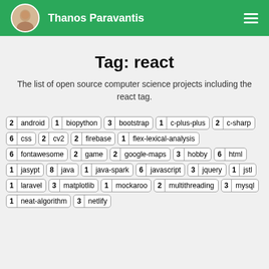Thanos Paravantis
Tag: react
The list of open source computer science projects including the react tag.
2 android
1 biopython
3 bootstrap
1 c-plus-plus
2 c-sharp
6 css
2 cv2
2 firebase
1 flex-lexical-analysis
6 fontawesome
2 game
2 google-maps
3 hobby
6 html
1 jasypt
8 java
1 java-spark
6 javascript
3 jquery
1 jstl
1 laravel
3 matplotlib
1 mockaroo
2 multithreading
3 mysql
1 neat-algorithm
3 netlify